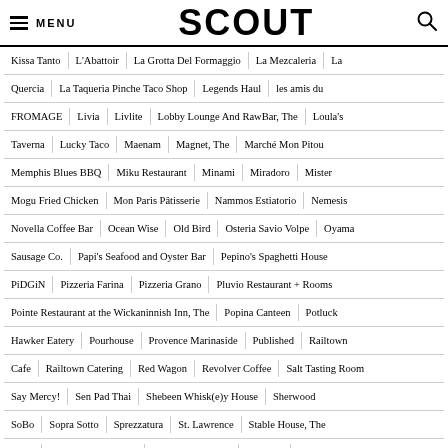MENU | SCOUT | (search icon)
Kissa Tanto | L'Abattoir | La Grotta Del Formaggio | La Mezcaleria | La Quercia | La Taqueria Pinche Taco Shop | Legends Haul | les amis du FROMAGE | Livia | Livlite | Lobby Lounge And RawBar, The | Loula's Taverna | Lucky Taco | Maenam | Magnet, The | Marché Mon Pitou | Memphis Blues BBQ | Miku Restaurant | Minami | Miradoro | Mister | Mogu Fried Chicken | Mon Paris Pâtisserie | Nammos Estiatorio | Nemesis | Novella Coffee Bar | Ocean Wise | Old Bird | Osteria Savio Volpe | Oyama Sausage Co. | Papi's Seafood and Oyster Bar | Pepino's Spaghetti House | PiDGiN | Pizzeria Farina | Pizzeria Grano | Pluvio Restaurant + Rooms | Pointe Restaurant at the Wickaninnish Inn, The | Popina Canteen | Potluck Hawker Eatery | Pourhouse | Provence Marinaside | Published | Railtown Cafe | Railtown Catering | Red Wagon | Revolver Coffee | Salt Tasting Room | Say Mercy! | Sen Pad Thai | Shebeen Whisk(e)y House | Sherwood | SoBo | Sopra Sotto | Sprezzatura | St. Lawrence | Stable House, The | Stage | Straight and Marrow | Tableau Bar Bistro | Tacofino | Tacofino (Victoria) | The Birds & The Beets | The Burrow | The Canteen | The